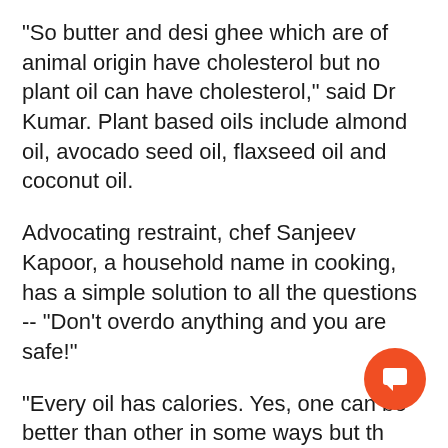"So butter and desi ghee which are of animal origin have cholesterol but no plant oil can have cholesterol," said Dr Kumar. Plant based oils include almond oil, avocado seed oil, flaxseed oil and coconut oil.
Advocating restraint, chef Sanjeev Kapoor, a household name in cooking, has a simple solution to all the questions -- "Don't overdo anything and you are safe!"
"Every oil has calories. Yes, one can be better than other in some ways but th about it. My recommendation is don't overdo anything -- goes for both good and
[Figure (other): Orange circular chat/feedback button with a speech bubble icon in the bottom right corner]